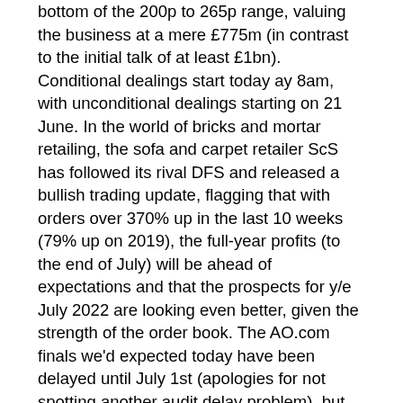bottom of the 200p to 265p range, valuing the business at a mere £775m (in contrast to the initial talk of at least £1bn). Conditional dealings start today ay 8am, with unconditional dealings starting on 21 June. In the world of bricks and mortar retailing, the sofa and carpet retailer ScS has followed its rival DFS and released a bullish trading update, flagging that with orders over 370% up in the last 10 weeks (79% up on 2019), the full-year profits (to the end of July) will be ahead of expectations and that the prospects for y/e July 2022 are looking even better, given the strength of the order book. The AO.com finals we'd expected today have been delayed until July 1st (apologies for not spotting another audit delay problem), but along with its finals today the second-hand car dealer Motorpoint has released a strategic objective of turning itself into more of an Online business.